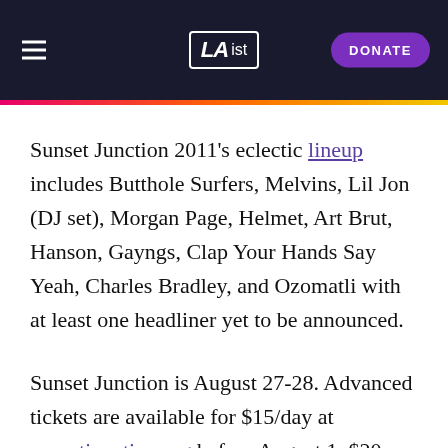LAist — DONATE
Sunset Junction 2011's eclectic lineup includes Butthole Surfers, Melvins, Lil Jon (DJ set), Morgan Page, Helmet, Art Brut, Hanson, Gayngs, Clap Your Hands Say Yeah, Charles Bradley, and Ozomatli with at least one headliner yet to be announced.
Sunset Junction is August 27-28. Advanced tickets are available for $15/day at sunsetjunction.org before August 1, $20 after, and $25 at the gates.